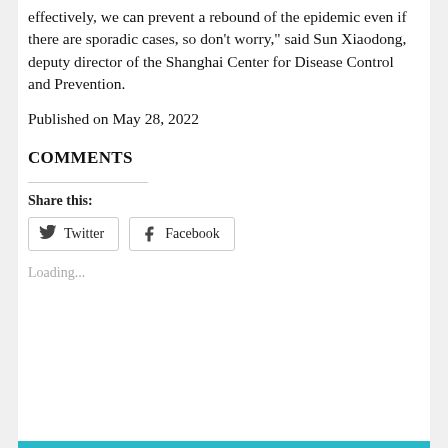effectively, we can prevent a rebound of the epidemic even if there are sporadic cases, so don't worry," said Sun Xiaodong, deputy director of the Shanghai Center for Disease Control and Prevention.
Published on May 28, 2022
COMMENTS
Share this:
Twitter  Facebook
Loading...